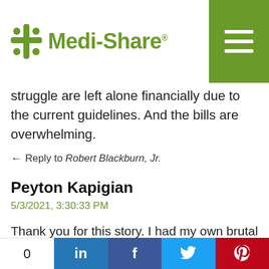Medi-Share®
struggle are left alone financially due to the current guidelines. And the bills are overwhelming.
← Reply to Robert Blackburn, Jr.
Peyton Kapigian
5/3/2021, 3:30:33 PM
Thank you for this story. I had my own brutal time in the wilderness from the Fall of 2013 thru Summer of 2019, metaphorically speaking. I have been a Christian since I was a child, but lived a functional Christian life as an adult, but not an authentic Christian life. Big difference! I was trying to be perfect in everything I said and did, but did
0  in  f  Twitter  Pinterest